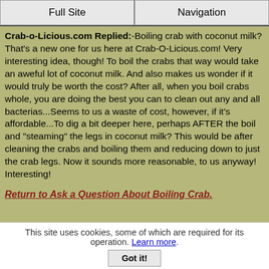Full Site | Navigation
Crab-o-Licious.com Replied:-Boiling crab with coconut milk? That's a new one for us here at Crab-O-Licious.com! Very interesting idea, though! To boil the crabs that way would take an aweful lot of coconut milk. And also makes us wonder if it would truly be worth the cost? After all, when you boil crabs whole, you are doing the best you can to clean out any and all bacterias...Seems to us a waste of cost, however, if it's affordable...To dig a bit deeper here, perhaps AFTER the boil and "steaming" the legs in coconut milk? This would be after cleaning the crabs and boiling them and reducing down to just the crab legs. Now it sounds more reasonable, to us anyway! Interesting!
Return to Ask a Question About Boiling Crab.
When to add beer to the water when boiling crab?
This site uses cookies, some of which are required for its operation. Learn more.